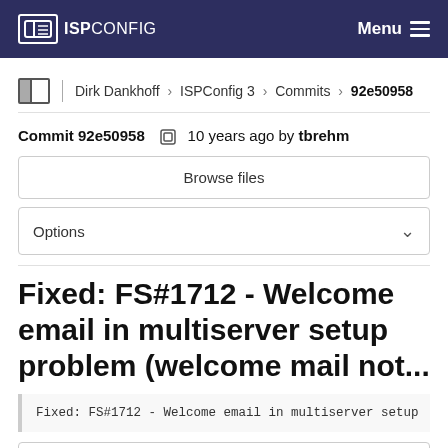ISPConfig — Menu
Dirk Dankhoff › ISPConfig 3 › Commits › 92e50958
Commit 92e50958  10 years ago by tbrehm
Browse files
Options
Fixed: FS#1712 - Welcome email in multiserver setup problem (welcome mail not...
Fixed: FS#1712 - Welcome email in multiserver setup
parent d2f8d345  master  ...